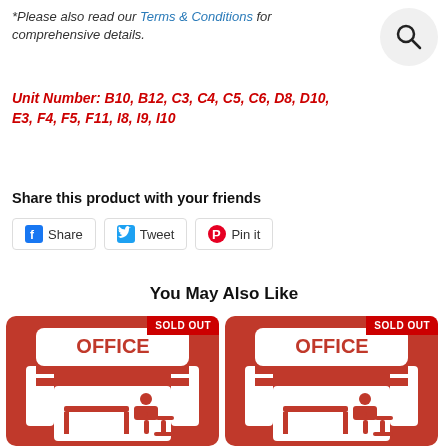*Please also read our Terms & Conditions for comprehensive details.
Unit Number: B10, B12, C3, C4, C5, C6, D8, D10, E3, F4, F5, F11, I8, I9, I10
Share this product with your friends
Share  Tweet  Pin it
You May Also Like
[Figure (illustration): Office rental product card with red background showing a person sitting at a desk, with SOLD OUT badge]
[Figure (illustration): Office rental product card with red background showing a person sitting at a desk, with SOLD OUT badge]